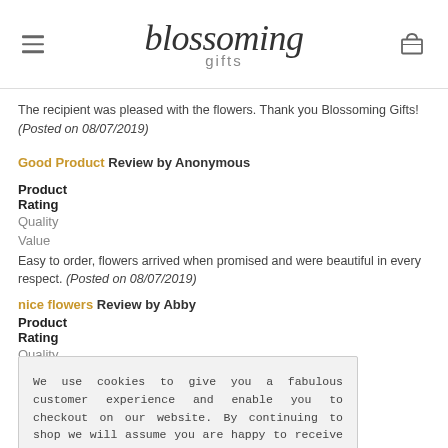blossoming gifts
The recipient was pleased with the flowers. Thank you Blossoming Gifts! (Posted on 08/07/2019)
Good Product Review by Anonymous
Product
Rating
Quality
Value
Easy to order, flowers arrived when promised and were beautiful in every respect. (Posted on 08/07/2019)
We use cookies to give you a fabulous customer experience and enable you to checkout on our website. By continuing to shop we will assume you are happy to receive all cookies, otherwise you can review more information on cookies. Learn more
Got it!
nice flowers Review by Abby
Product
Rating
Quality